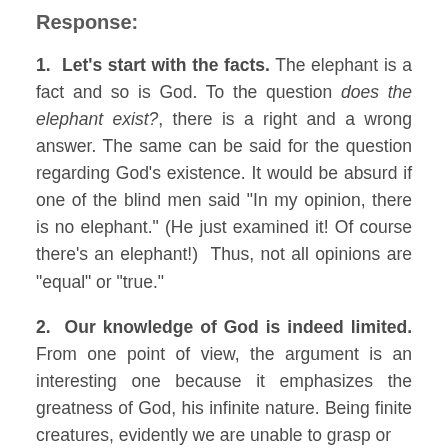Response:
1. Let's start with the facts. The elephant is a fact and so is God. To the question does the elephant exist?, there is a right and a wrong answer. The same can be said for the question regarding God's existence. It would be absurd if one of the blind men said “In my opinion, there is no elephant.” (He just examined it! Of course there’s an elephant!) Thus, not all opinions are “equal” or “true.”
2. Our knowledge of God is indeed limited. From one point of view, the argument is an interesting one because it emphasizes the greatness of God, his infinite nature. Being finite creatures, evidently we are unable to grasp or